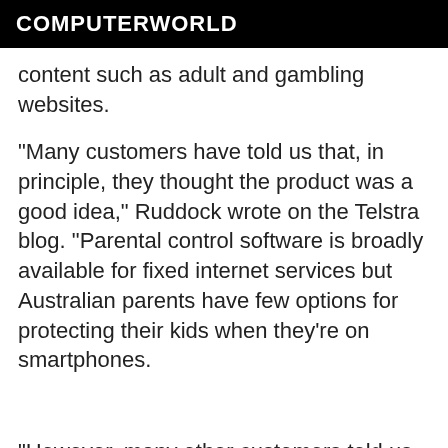COMPUTERWORLD
content such as adult and gambling websites.
"Many customers have told us that, in principle, they thought the product was a good idea," Ruddock wrote on the Telstra blog. "Parental control software is broadly available for fixed internet services but Australian parents have few options for protecting their kids when they're on smartphones.
"However, many other customers told us that they did not want the network practices used to categorise websites for such a product applied to their mobile